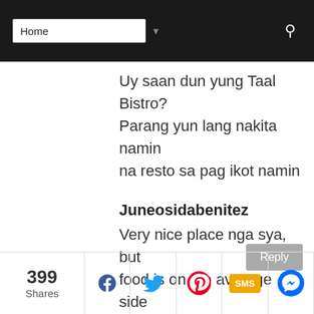Home [navigation bar with dropdown and search]
Uy saan dun yung Taal Bistro? Parang yun lang nakita namin na resto sa pag ikot namin
Juneosidabenitez
Very nice place nga sya, but food is on the average side
399 Shares